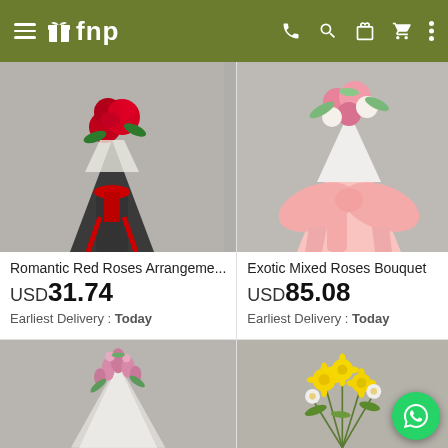fnp - flowers and gifts
[Figure (photo): Red roses bouquet wrapped in dark grey/black paper with red ribbon, product image on grey background]
Romantic Red Roses Arrangeme...
USD 31.74
Earliest Delivery : Today
[Figure (photo): Mixed roses bouquet wrapped in pink paper with large pink bow, product image on grey background]
Exotic Mixed Roses Bouquet
USD 85.08
Earliest Delivery : Today
[Figure (photo): Pink tulips and mixed flowers bouquet wrapped in white paper, product image on grey background]
[Figure (photo): Yellow and white flowers mixed arrangement, product image on grey background with WhatsApp button overlay]